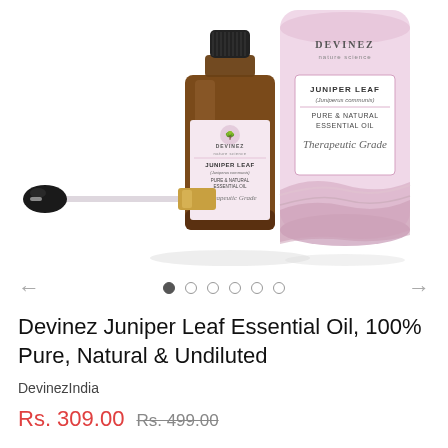[Figure (photo): Product photo of Devinez Juniper Leaf Essential Oil bottle with dropper and cylindrical packaging box. The amber glass bottle has a black dropper cap with gold collar. The pink cylindrical box shows DEVINEZ branding and JUNIPER LEAF label with PURE & NATURAL ESSENTIAL OIL text and Therapeutic Grade script. Both bottle and box display the Devinez logo with a tree illustration.]
← • ○ ○ ○ ○ ○ →
Devinez Juniper Leaf Essential Oil, 100% Pure, Natural & Undiluted
DevinezIndia
Rs. 309.00  Rs. 499.00